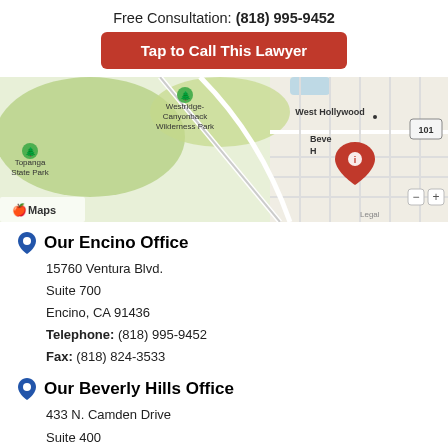Free Consultation: (818) 995-9452
Tap to Call This Lawyer
[Figure (map): Apple Maps showing Beverly Hills area with a red location pin, West Hollywood and surrounding areas visible. Shows Topanga State Park, Westridge-Canyonback Wilderness Park labels. Route 101 visible on right.]
Our Encino Office
15760 Ventura Blvd.
Suite 700
Encino, CA 91436
Telephone: (818) 995-9452
Fax: (818) 824-3533
Our Beverly Hills Office
433 N. Camden Drive
Suite 400
Beverly Hills, CA 90210
Telephone: (818) 995-9452